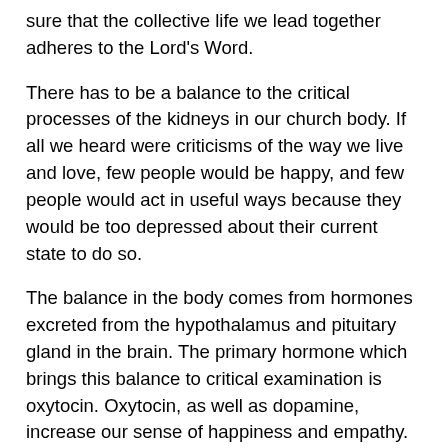sure that the collective life we lead together adheres to the Lord's Word.
There has to be a balance to the critical processes of the kidneys in our church body. If all we heard were criticisms of the way we live and love, few people would be happy, and few people would act in useful ways because they would be too depressed about their current state to do so.
The balance in the body comes from hormones excreted from the hypothalamus and pituitary gland in the brain. The primary hormone which brings this balance to critical examination is oxytocin. Oxytocin, as well as dopamine, increase our sense of happiness and empathy.
So we can imagine that the people in a church body associated with the hypothalamus would be the people who pay attention to the needs and loves of other people. They notice who is hurting, who is depressed, and who is in need of